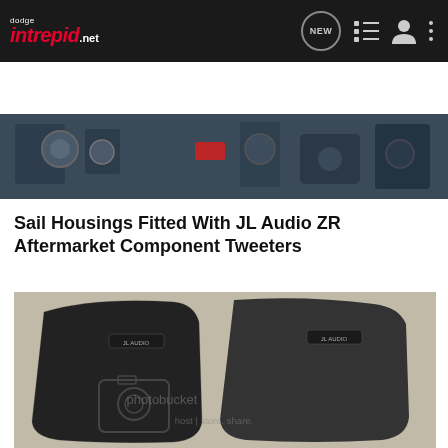dodge intrepid.net
Search Community
[Figure (photo): Car engine compartment photo strip]
Sail Housings Fitted With JL Audio ZR Aftermarket Component Tweeters
[Figure (photo): Two black sail panel housings with JL Audio ZR tweeters installed, photographed on concrete floor. Photobucket watermark visible.]